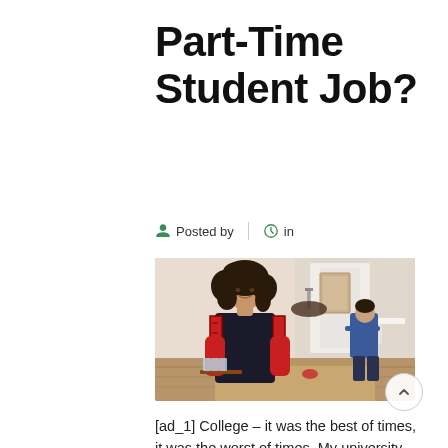Part-Time Student Job?
Posted by   |   in
[Figure (photo): A young woman with curly hair wearing a red plaid shirt and dark apron, holding a tray with glasses in a restaurant setting. In the background, another person in blue is leaning over a table.]
[ad_1] College – it was the best of times, it was the worst of times. My university